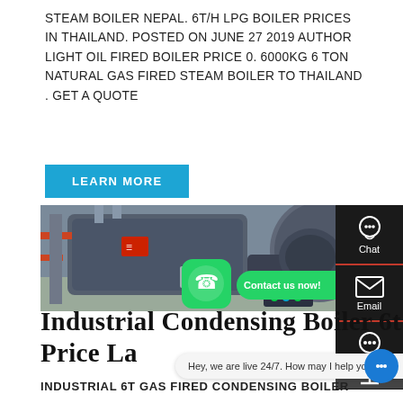STEAM BOILER NEPAL. 6T/H LPG BOILER PRICES IN THAILAND. POSTED ON JUNE 27 2019 AUTHOR LIGHT OIL FIRED BOILER PRICE 0. 6000KG 6 TON NATURAL GAS FIRED STEAM BOILER TO THAILAND . GET A QUOTE
LEARN MORE
[Figure (photo): Industrial condensing boiler equipment photographed in an industrial setting. Large grey cylindrical boiler unit with attached burner and control panel. WhatsApp contact button and 'Contact us now!' overlay visible.]
Chat
Email
Industrial Condensing Boiler 6t Price La
Hey, we are live 24/7. How may I help you?
INDUSTRIAL 6T GAS FIRED CONDENSING BOILER